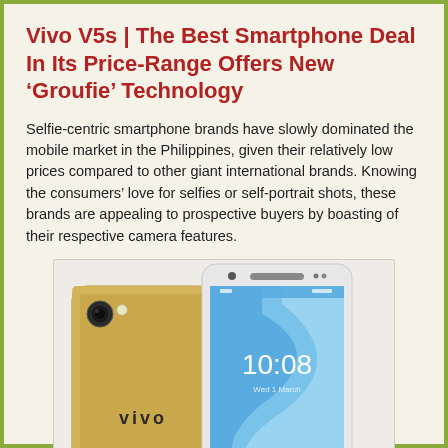Vivo V5s | The Best Smartphone Deal In Its Price-Range Offers New 'Groufie' Technology
Selfie-centric smartphone brands have slowly dominated the mobile market in the Philippines, given their relatively low prices compared to other giant international brands. Knowing the consumers' love for selfies or self-portrait shots, these brands are appealing to prospective buyers by boasting of their respective camera features.
[Figure (photo): Promotional photo of the Vivo V5s smartphone showing the gold back panel with camera and Vivo logo alongside the front display showing 10:08 time with a blue wave wallpaper.]